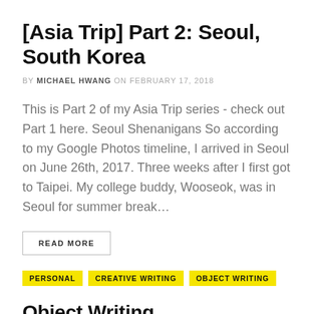[Asia Trip] Part 2: Seoul, South Korea
BY MICHAEL HWANG ON FEBRUARY 17, 2018
This is Part 2 of my Asia Trip series - check out Part 1 here. Seoul Shenanigans So according to my Google Photos timeline, I arrived in Seoul on June 26th, 2017. Three weeks after I first got to Taipei. My college buddy, Wooseok, was in Seoul for summer break…
READ MORE
PERSONAL   CREATIVE WRITING   OBJECT WRITING
Object Writing